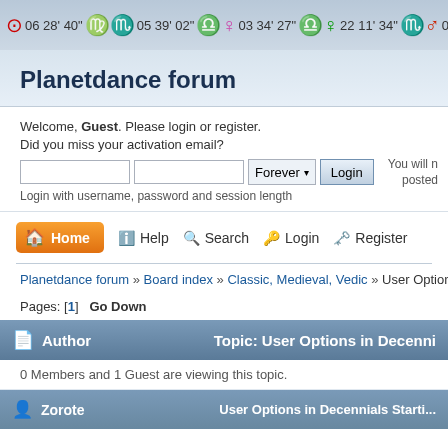06 28' 40" [Virgo] 05 39' 02" [Libra] 03 34' 27" [Libra] 22 11' 34" [Scorpio/Mars] 05 2...
Planetdance forum
Welcome, Guest. Please login or register.
Did you miss your activation email?
Login with username, password and session length
You will n... posted...
Home  Help  Search  Login  Register
Planetdance forum » Board index » Classic, Medieval, Vedic » User Options in Decennia...
Pages: [1]  Go Down
| Author | Topic: User Options in Decenni... |
| --- | --- |
| 0 Members and 1 Guest are viewing this topic. |  |
| [icon] Zorote | User Options in Decennials Starti... |
0 Members and 1 Guest are viewing this topic.
User Options in Decennials Starti...